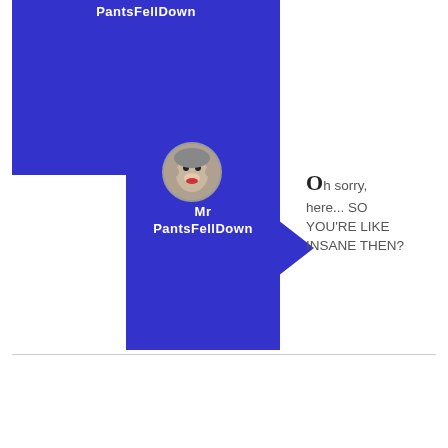[Figure (screenshot): Blue panel with username 'Mr PantsFellDown' at top, sock monkey avatar, blue speech bubble pointing right, comment text 'Oh sorry, here... SO YOU'RE LIKE INSANE THEN?', and a comment input box with submit button.]
PantsFellDown
Mr
PantsFellDown
Oh sorry, here... SO YOU'RE LIKE INSANE THEN?
Share your comment...
Comment